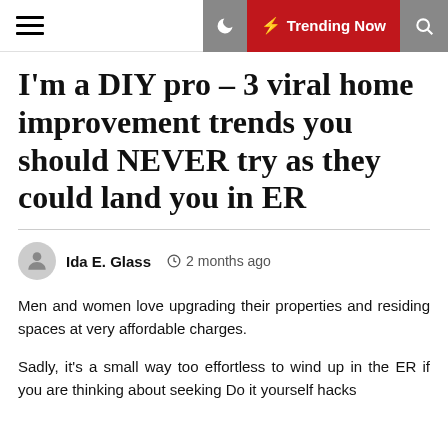Trending Now
I'm a DIY pro – 3 viral home improvement trends you should NEVER try as they could land you in ER
Ida E. Glass   2 months ago
Men and women love upgrading their properties and residing spaces at very affordable charges.
Sadly, it's a small way too effortless to wind up in the ER if you are thinking about seeking Do it yourself hacks